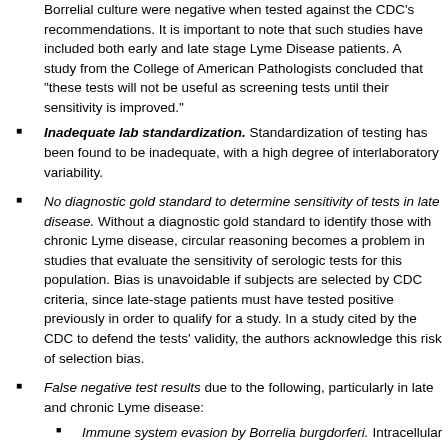Borrelial culture were negative when tested against the CDC's recommendations. It is important to note that such studies have included both early and late stage Lyme Disease patients. A study from the College of American Pathologists concluded that "these tests will not be useful as screening tests until their sensitivity is improved."
Inadequate lab standardization. Standardization of testing has been found to be inadequate, with a high degree of interlaboratory variability.
No diagnostic gold standard to determine sensitivity of tests in late disease. Without a diagnostic gold standard to identify those with chronic Lyme disease, circular reasoning becomes a problem in studies that evaluate the sensitivity of serologic tests for this population. Bias is unavoidable if subjects are selected by CDC criteria, since late-stage patients must have tested positive previously in order to qualify for a study. In a study cited by the CDC to defend the tests' validity, the authors acknowledge this risk of selection bias.
False negative test results due to the following, particularly in late and chronic Lyme disease:
Immune system evasion by Borrelia burgdorferi. Intracellular sequestration, antigen variation, immune suppression, the formation of immune complexes, and predominance of cystic forms have all been cited as reasons for seronegativity in late and chronic Lyme disease (see Mechanisms of persistence section).